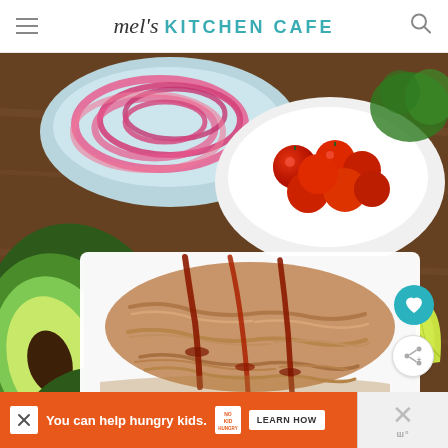mel's KITCHEN CAFE
[Figure (photo): Food photography showing a white rectangular plate of shredded pulled pork with BBQ sauce drizzled on top, surrounded by bowls of cherry tomatoes, pickled red onions, halved avocados, lime wedges, and fresh cilantro on a wooden surface]
You can help hungry kids. NO KID HUNGRY LEARN HOW